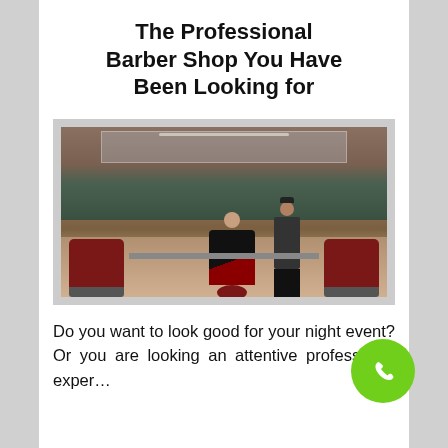The Professional Barber Shop You Have Been Looking for
[Figure (photo): Interior of a professional barbershop with vintage barber chairs, exposed brick walls, and a barber cutting a client's hair in the center. Several empty barber chairs are visible on both sides.]
Do you want to look good for your night event? Or you are looking an attentive professional exper…